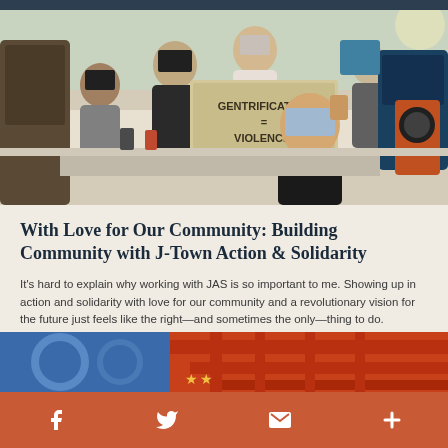[Figure (photo): Group of people wearing masks at an outdoor event/protest table. A sign reads 'GENTRIFICATION = VIOLENCE!' A young man in a black shirt is seated in the foreground with fist raised.]
With Love for Our Community: Building Community with J-Town Action & Solidarity
It's hard to explain why working with JAS is so important to me. Showing up in action and solidarity with love for our community and a revolutionary vision for the future just feels like the right—and sometimes the only—thing to do.
Read More >>
[Figure (photo): Partial view of a red Japanese-style architectural structure (torii gate or temple roof elements) against a blue sky.]
f  Twitter bird icon  envelope icon  +